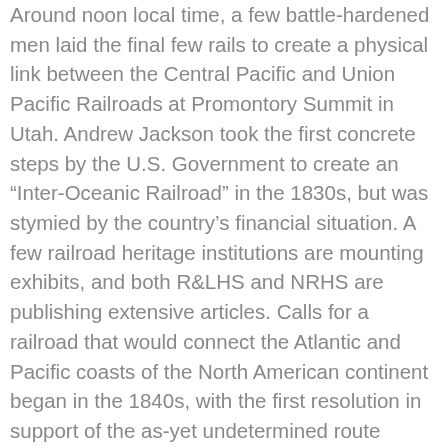Around noon local time, a few battle-hardened men laid the final few rails to create a physical link between the Central Pacific and Union Pacific Railroads at Promontory Summit in Utah. Andrew Jackson took the first concrete steps by the U.S. Government to create an “Inter-Oceanic Railroad” in the 1830s, but was stymied by the country’s financial situation. A few railroad heritage institutions are mounting exhibits, and both R&LHS and NRHS are publishing extensive articles. Calls for a railroad that would connect the Atlantic and Pacific coasts of the North American continent began in the 1840s, with the first resolution in support of the as-yet undetermined route passing Congress in 1845. Cloudflare Ray ID: 5fd298584fd4fa1c Chinese immigrants. Albany County, Wyoming 1869. Frontier life was replaced by city life as towns began to pop up along the construction of the railway. The Transcontinental Railroad, completed in 1869, had dramatic economic, cultural, and political significance to the development of the United States. To leave a comment you